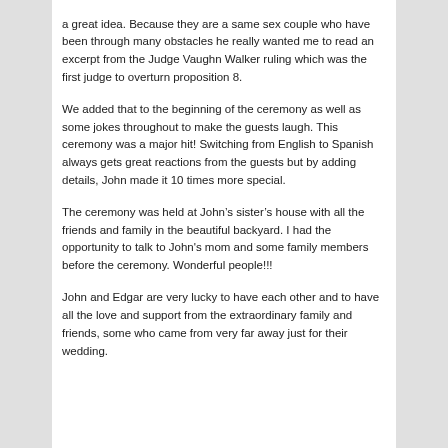a great idea.  Because they are a same sex couple who have been through many obstacles he really wanted me to read an excerpt from the Judge Vaughn Walker ruling which was the first judge to overturn proposition 8.
We added that to the beginning of the ceremony as well as some jokes throughout to make the guests laugh.  This ceremony was a major hit!  Switching from English to Spanish always gets great reactions from the guests but by adding details, John made it 10 times more special.
The ceremony was held at John’s sister’s house with all the friends and family in the beautiful backyard.  I had the opportunity to talk to John's mom and some family members before the ceremony.  Wonderful people!!!
John and Edgar are very lucky to have each other and to have all the love and support from the extraordinary family and friends, some who came from very far away just for their wedding.